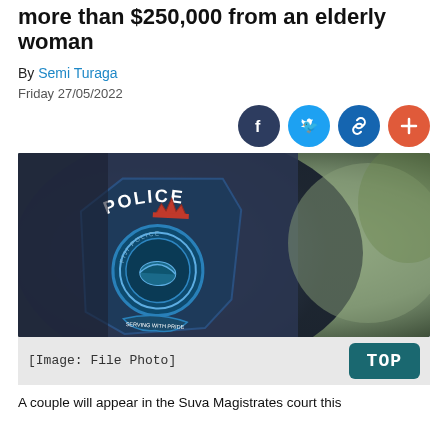more than $250,000 from an elderly woman
By Semi Turaga
Friday 27/05/2022
[Figure (photo): Close-up photograph of a Fiji Police uniform shoulder patch/badge on a dark navy blue jacket, with blurred green background]
[Image: File Photo]
A couple will appear in the Suva Magistrates court this